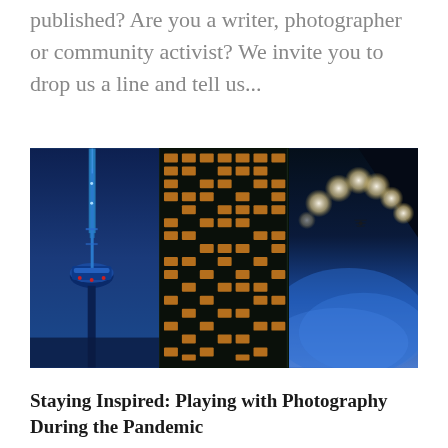published? Are you a writer, photographer or community activist? We invite you to drop us a line and tell us...
[Figure (photo): A collage of three night photography images: left panel shows the CN Tower illuminated in blue against a dark blue sky, center panel shows a tall glass office building at night with lit windows, right panel shows bokeh light orbs and a blue blurred abstract shape.]
Staying Inspired: Playing with Photography During the Pandemic